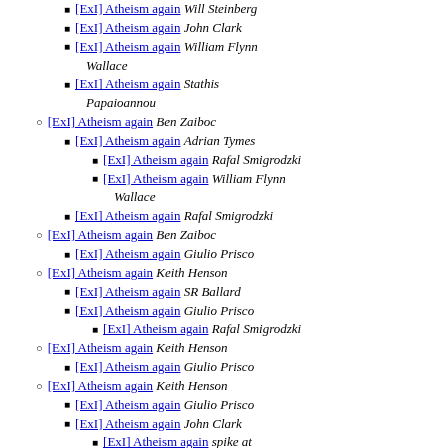[ExI] Atheism again  Will Steinberg
[ExI] Atheism again  John Clark
[ExI] Atheism again  William Flynn Wallace
[ExI] Atheism again  Stathis Papaioannou
[ExI] Atheism again  Ben Zaiboc
[ExI] Atheism again  Adrian Tymes
[ExI] Atheism again  Rafal Smigrodzki
[ExI] Atheism again  William Flynn Wallace
[ExI] Atheism again  Rafal Smigrodzki
[ExI] Atheism again  Ben Zaiboc
[ExI] Atheism again  Giulio Prisco
[ExI] Atheism again  Keith Henson
[ExI] Atheism again  SR Ballard
[ExI] Atheism again  Giulio Prisco
[ExI] Atheism again  Rafal Smigrodzki
[ExI] Atheism again  Keith Henson
[ExI] Atheism again  Giulio Prisco
[ExI] Atheism again  Keith Henson
[ExI] Atheism again  Giulio Prisco
[ExI] Atheism again  John Clark
[ExI] Atheism again  spike at rainier66.com